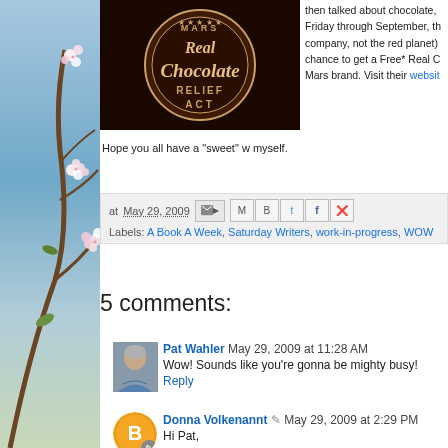[Figure (photo): Spring cherry blossom flowers on left sidebar background]
[Figure (logo): Mars Real Chocolate Relief Act circular logo on dark brown background]
then talked about chocolate, Friday through September, th company, not the red planet) chance to get a Free* Real C Mars brand. Visit their websit
Hope you all have a "sweet" w myself.
at May 29, 2009
Labels: A Book A Week, Saturday Writers, work-in-progress, WOW
5 comments:
[Figure (photo): Profile photo of Pat Wahler, a woman with short gray hair wearing a blue shirt]
Pat Wahler May 29, 2009 at 11:28 AM
Wow! Sounds like you're gonna be mighty busy!
Reply
[Figure (logo): Blogger orange B icon avatar for Donna Volkenannt]
Donna Volkenannt May 29, 2009 at 2:29 PM
Hi Pat,